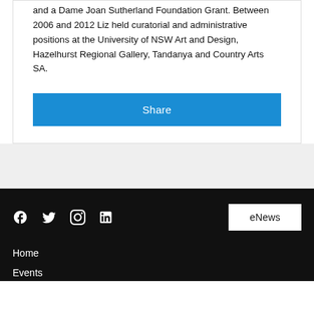and a Dame Joan Sutherland Foundation Grant. Between 2006 and 2012 Liz held curatorial and administrative positions at the University of NSW Art and Design, Hazelhurst Regional Gallery, Tandanya and Country Arts SA.
Share
[Figure (infographic): Social media icons: Facebook, Twitter, Instagram, LinkedIn, and an eNews button]
Home
Events